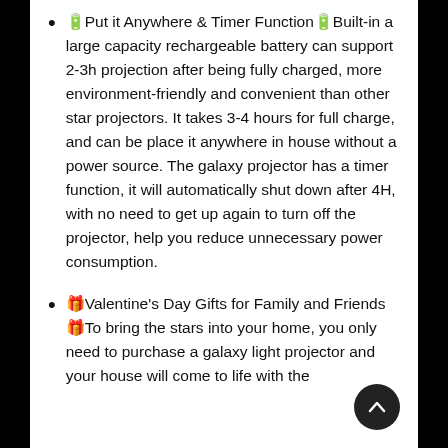🔋Put it Anywhere & Timer Function🔋Built-in a large capacity rechargeable battery can support 2-3h projection after being fully charged, more environment-friendly and convenient than other star projectors. It takes 3-4 hours for full charge, and can be place it anywhere in house without a power source. The galaxy projector has a timer function, it will automatically shut down after 4H, with no need to get up again to turn off the projector, help you reduce unnecessary power consumption.
🎁Valentine's Day Gifts for Family and Friends🎁To bring the stars into your home, you only need to purchase a galaxy light projector and your house will come to life with the